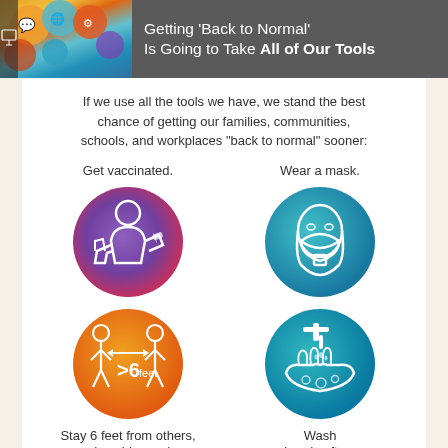Getting ‘Back to Normal’ Is Going to Take All of Our Tools
If we use all the tools we have, we stand the best chance of getting our families, communities, schools, and workplaces “back to normal” sooner:
[Figure (infographic): Icon of person getting vaccinated (thumbs up, bandage on arm) in purple/red circle with label: Get vaccinated.]
[Figure (infographic): Icon of person wearing a face mask in teal/blue circle with label: Wear a mask.]
[Figure (infographic): Icon of two people standing more than 6 feet apart (>6 feet label) in orange circle with label: Stay 6 feet from others, and avoid crowds.]
[Figure (infographic): Icon of hands being washed under faucet with water drops and bubbles in teal circle with label: Wash hands often.]